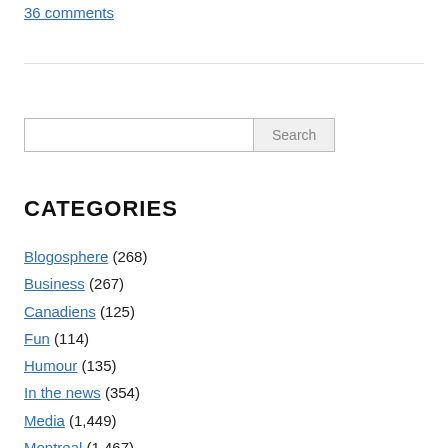36 comments
CATEGORIES
Blogosphere (268)
Business (267)
Canadiens (125)
Fun (114)
Humour (135)
In the news (354)
Media (1,449)
Montreal (1,467)